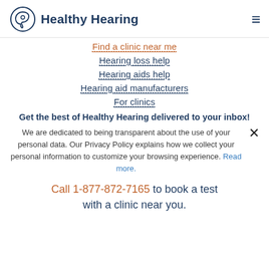Healthy Hearing
Find a clinic near me
Hearing loss help
Hearing aids help
Hearing aid manufacturers
For clinics
Get the best of Healthy Hearing delivered to your inbox!
We are dedicated to being transparent about the use of your personal data. Our Privacy Policy explains how we collect your personal information to customize your browsing experience. Read more.
Call 1-877-872-7165 to book a test with a clinic near you.